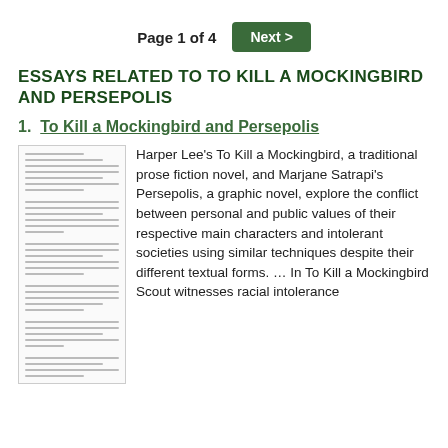Page 1 of 4  Next >
ESSAYS RELATED TO TO KILL A MOCKINGBIRD AND PERSEPOLIS
1.  To Kill a Mockingbird and Persepolis
[Figure (illustration): Thumbnail image of an essay document page showing small lines of text]
Harper Lee's To Kill a Mockingbird, a traditional prose fiction novel, and Marjane Satrapi's Persepolis, a graphic novel, explore the conflict between personal and public values of their respective main characters and intolerant societies using similar techniques despite their different textual forms. … In To Kill a Mockingbird Scout witnesses racial intolerance